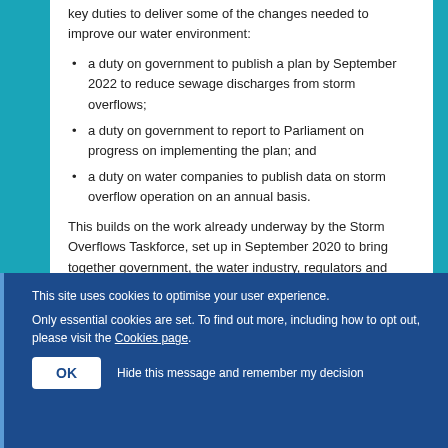key duties to deliver some of the changes needed to improve our water environment:
a duty on government to publish a plan by September 2022 to reduce sewage discharges from storm overflows;
a duty on government to report to Parliament on progress on implementing the plan; and
a duty on water companies to publish data on storm overflow operation on an annual basis.
This builds on the work already underway by the Storm Overflows Taskforce, set up in September 2020 to bring together government, the water industry, regulators and
This site uses cookies to optimise your user experience.
Only essential cookies are set. To find out more, including how to opt out, please visit the Cookies page.
OK  Hide this message and remember my decision